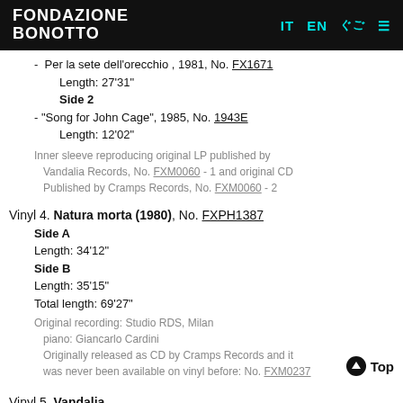FONDAZIONE BONOTTO
- Per la sete dell'orecchio , 1981, No. FX1671
  Length: 27'31"
  Side 2
- "Song for John Cage", 1985, No. 1943E
  Length: 12'02"
Inner sleeve reproducing original LP published by Vandalia Records, No. FXM0060 - 1 and original CD Published by Cramps Records, No. FXM0060 - 2
Vinyl 4. Natura morta (1980), No. FXPH1387
  Side A
  Length: 34'12"
  Side B
  Length: 35'15"
  Total length: 69'27"
Original recording: Studio RDS, Milan
  piano: Giancarlo Cardini
  Originally released as CD by Cramps Records and it was never been available on vinyl before: No. FXM0237
Vinyl 5. Vandalia
  Side A